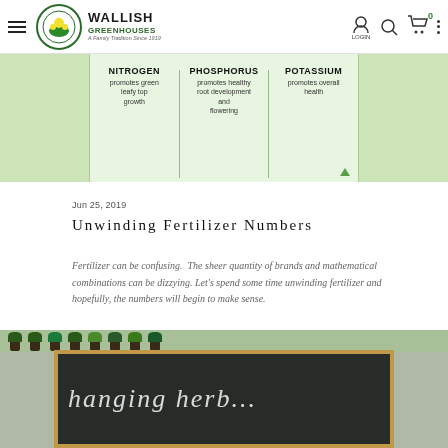Wallish Greenhouses – navigation bar with logo, login, search, cart, menu
[Figure (infographic): Fertilizer NPK infographic showing three columns: NITROGEN promotes green leafy top growth | PHOSPHORUS promotes healthy root development and flowering | POTASSIUM promotes overall health, on a green background]
Jun 25, 2019
Unwinding Fertilizer Numbers
Fertilizer can be confusing.  The sheer quantity of brands and mathematical combinations can be dizzying. Let's spend some time unwinding fertilizer and hopefully, the numbers will begin to make sense.
[Figure (photo): Greenhouse interior with hanging plants and potted plants on shelves; a chalkboard sign in foreground with cursive chalk lettering reading 'hanging herb...']